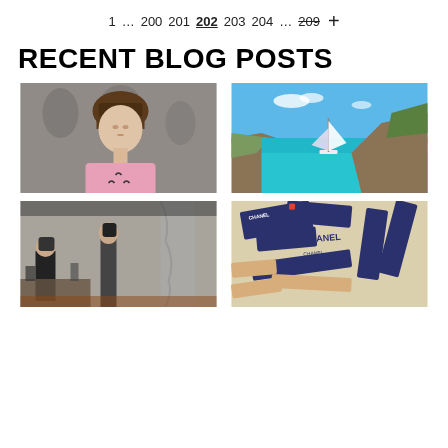1 … 200 201 202 203 204 … 209 +
RECENT BLOG POSTS
[Figure (photo): Young woman with short brown hair wearing a pink top, photographed against a dark floral wallpaper background]
[Figure (photo): Aerial view of a turquoise bay with a sailboat anchored near rocky cliffs and green hills]
[Figure (photo): Black and white vintage photo showing people in an ornate room with furniture and curtains]
[Figure (photo): Chanel cosmetic products arranged on a light surface, navy blue packaging with Chanel branding visible]